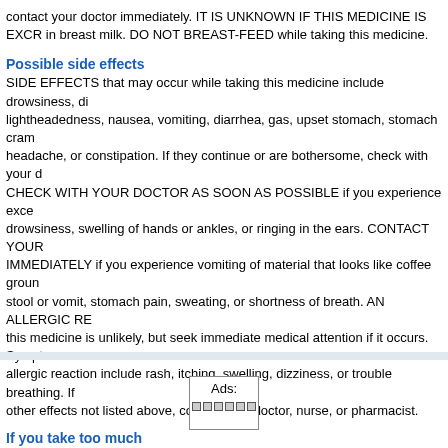contact your doctor immediately. IT IS UNKNOWN IF THIS MEDICINE IS EXCRETED in breast milk. DO NOT BREAST-FEED while taking this medicine.
Possible side effects
SIDE EFFECTS that may occur while taking this medicine include drowsiness, dizziness, lightheadedness, nausea, vomiting, diarrhea, gas, upset stomach, stomach cramps, headache, or constipation. If they continue or are bothersome, check with your doctor. CHECK WITH YOUR DOCTOR AS SOON AS POSSIBLE if you experience excessive drowsiness, swelling of hands or ankles, or ringing in the ears. CONTACT YOUR DOCTOR IMMEDIATELY if you experience vomiting of material that looks like coffee grounds, blood in stool or vomit, stomach pain, sweating, or shortness of breath. AN ALLERGIC REACTION to this medicine is unlikely, but seek immediate medical attention if it occurs. Symptoms of an allergic reaction include rash, itching, swelling, dizziness, or trouble breathing. If you notice other effects not listed above, contact your doctor, nurse, or pharmacist.
If you take too much
If overdose is suspected, contact your local poison control center or emergency room immediately. Symptoms of overdose may include slowed breathing, drowsiness, unconsciousness or loss of consciousness, cold and clammy skin, dry mouth, slow pulse, stomach pain, or vomit that is bloody or looks like coffee grounds.
Additional information
DO NOT SHARE THIS MEDICINE with others for whom it was not prescribed. DO NOT USE THIS MEDICINE for other health conditions. KEEP THIS MEDICINE out of the reach of children.
[Figure (other): Ads placeholder box with dots below label]